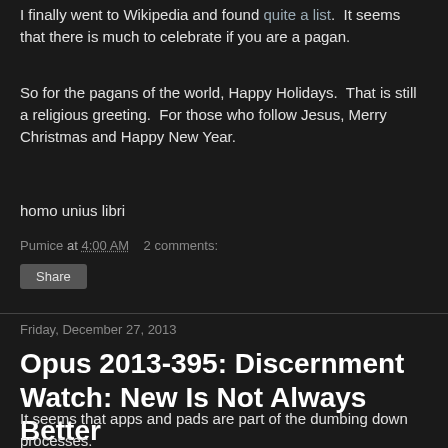I finally went to Wikipedia and found quite a list.  It seems that there is much to celebrate if you are a pagan.
So for the pagans of the world, Happy Holidays.  That is still a religious greeting.  For those who follow Jesus, Merry Christmas and Happy New Year.
homo unius libri
Pumice at 4:00 AM    2 comments:
Share
Friday, December 27, 2013
Opus 2013-395: Discernment Watch: New Is Not Always Better
It seems that apps and pads are part of the dumbing down processes.